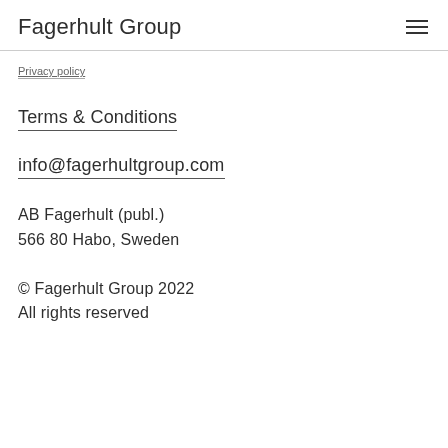Fagerhult Group
Privacy policy
Terms & Conditions
info@fagerhultgroup.com
AB Fagerhult (publ.)
566 80 Habo, Sweden
© Fagerhult Group 2022
All rights reserved